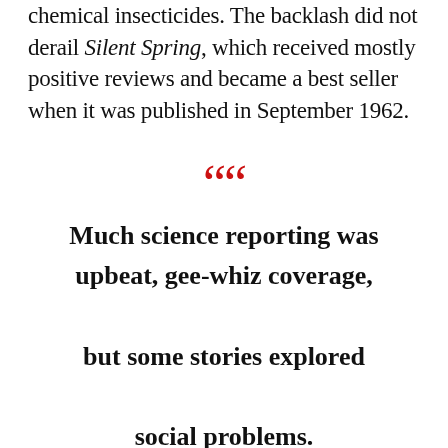chemical insecticides. The backlash did not derail Silent Spring, which received mostly positive reviews and became a best seller when it was published in September 1962.
Much science reporting was upbeat, gee-whiz coverage, but some stories explored social problems.